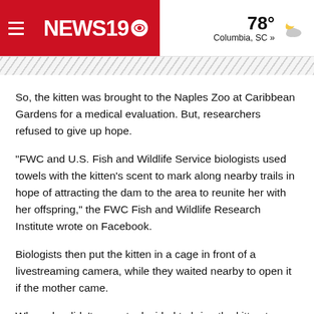NEWS19 | 78° Columbia, SC »
So, the kitten was brought to the Naples Zoo at Caribbean Gardens for a medical evaluation. But, researchers refused to give up hope.
"FWC and U.S. Fish and Wildlife Service biologists used towels with the kitten's scent to mark along nearby trails in hope of attracting the dam to the area to reunite her with her offspring," the FWC Fish and Wildlife Research Institute wrote on Facebook.
Biologists then put the kitten in a cage in front of a livestreaming camera, while they waited nearby to open it if the mother came.
When she didn't, experts decided to bring the kitten to White Oak Conservation in Yulee.